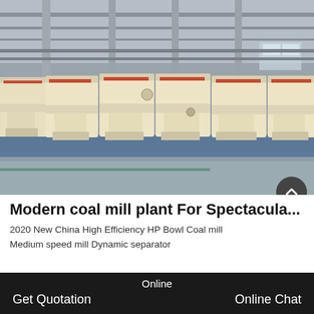[Figure (photo): Industrial factory interior showing a row of large cream/beige colored coal mill machines (HP Bowl Coal mills) lined up on a blue-green factory floor, with steel pipes and columns in the ceiling above. The machines have red stripe rings near the top and various gauges and equipment attached.]
Modern coal mill plant For Spectacula...
2020 New China High Efficiency HP Bowl Coal mill Medium speed mill Dynamic separator
Online  Get Quotation  Online Chat